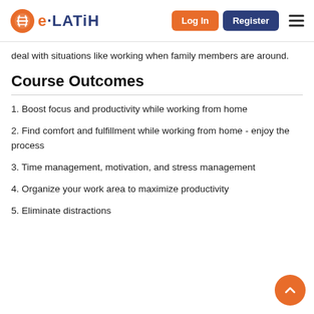e-LATiH — Log In | Register
deal with situations like working when family members are around.
Course Outcomes
1. Boost focus and productivity while working from home
2. Find comfort and fulfillment while working from home - enjoy the process
3. Time management, motivation, and stress management
4. Organize your work area to maximize productivity
5. Eliminate distractions